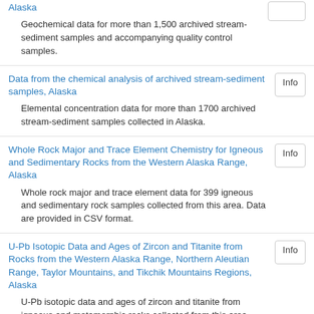Alaska
Geochemical data for more than 1,500 archived stream-sediment samples and accompanying quality control samples.
Data from the chemical analysis of archived stream-sediment samples, Alaska
Elemental concentration data for more than 1700 archived stream-sediment samples collected in Alaska.
Whole Rock Major and Trace Element Chemistry for Igneous and Sedimentary Rocks from the Western Alaska Range, Alaska
Whole rock major and trace element data for 399 igneous and sedimentary rock samples collected from this area. Data are provided in CSV format.
U-Pb Isotopic Data and Ages of Zircon and Titanite from Rocks from the Western Alaska Range, Northern Aleutian Range, Taylor Mountains, and Tikchik Mountains Regions, Alaska
U-Pb isotopic data and ages of zircon and titanite from igneous and metamorphic rocks collected from this area. Data are provided in CSV format.